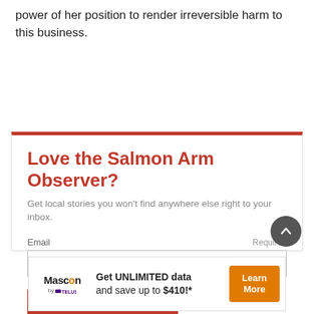power of her position to render irreversible harm to this business.
Love the Salmon Arm Observer?
Get local stories you won't find anywhere else right to your inbox.
Email  Required
SUBSCRIBE FOR FREE
[Figure (infographic): Advertisement banner: Mascon by TELUS logo on left, text 'Get UNLIMITED data and save up to $410!*' in center, orange 'Learn More' button on right.]